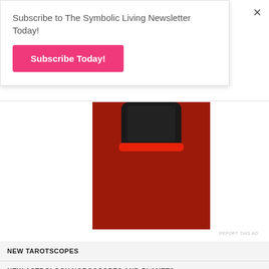Subscribe to The Symbolic Living Newsletter Today!
Subscribe Today!
[Figure (photo): A red smartphone with a black screen on a red background, partially cropped at top]
REPORT THIS AD
NEW TAROTSCOPES
NEW ASTROLOGY HOROSCOPES AND PLANETS